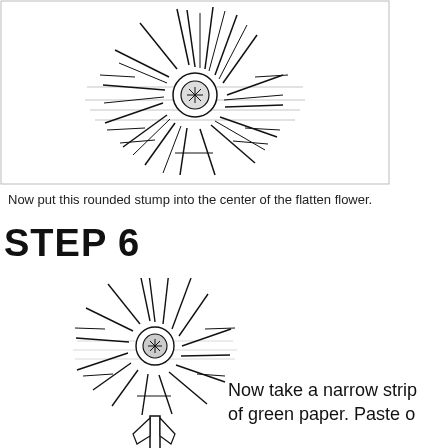[Figure (illustration): Black and white line drawing of a flattened flower (daisy/chrysanthemum) viewed from above, with radiating petals and a rounded center stump, shown inside a rectangular border.]
Now put this rounded stump into the center of the flatten flower.
STEP 6
[Figure (illustration): Black and white line drawing of a flower with radiating petals and a rounded center, with a stem below it. To the right is partial text 'Now take a narrow strip of green paper. Paste o'.]